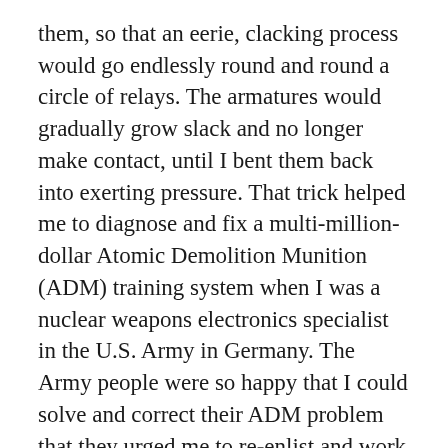them, so that an eerie, clacking process would go endlessly round and round a circle of relays. The armatures would gradually grow slack and no longer make contact, until I bent them back into exerting pressure. That trick helped me to diagnose and fix a multi-million-dollar Atomic Demolition Munition (ADM) training system when I was a nuclear weapons electronics specialist in the U.S. Army in Germany. The Army people were so happy that I could solve and correct their ADM problem that they urged me to re-enlist and work at the depot-level, but I wanted to work on the http://mindsz.com/ideasz/ai-mind project so I left the Army to work on artificial intelligence.